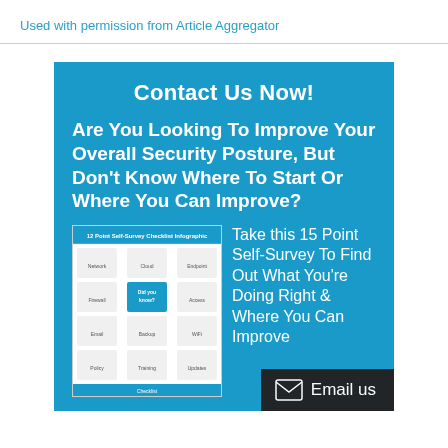Used with permission from Article Aggregator
Contact Us Now!
Are You Looking To Improve Your Overall Security Posture, But Don't Know Where To Start Or Where You Can Improve?
[Figure (infographic): 12 Point Self-Survey Checklist Infographic thumbnail showing a grid of security topic icons and a 'Did you know?' section in the center]
Take this 15 Point Self-Survey To Find Out What You're Doing Right & Where You Can Improve